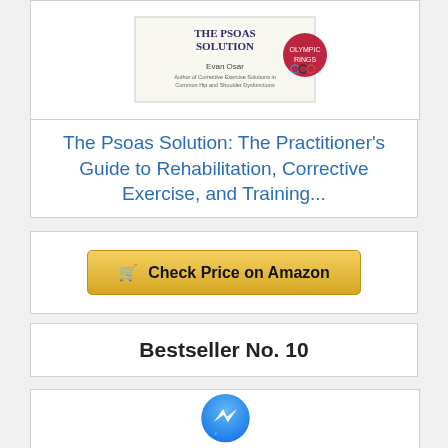[Figure (illustration): Book cover for 'The Psoas Solution' by Evan Osar, partial view of top of image]
The Psoas Solution: The Practitioner's Guide to Rehabilitation, Corrective Exercise, and Training...
[Figure (other): Check Price on Amazon button with shopping cart icon]
Bestseller No. 10
[Figure (logo): Facebook Messenger logo - blue circle with white lightning bolt messenger icon]